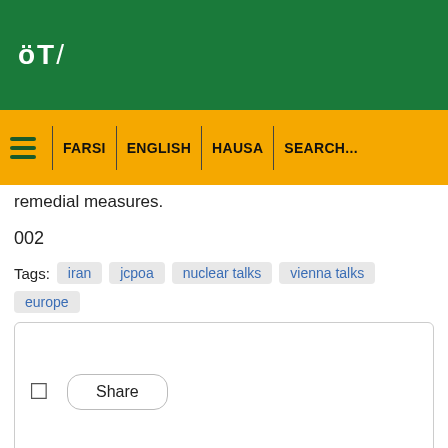[Figure (logo): ÖT/ logo in white on green background header bar]
FARSI | ENGLISH | HAUSA | SEARCH...
remedial measures.
002
Tags: iran  jcpoa  nuclear talks  vienna talks  europe
[Figure (screenshot): Share button panel with share icon and Share button]
Comments(0)
Email input field